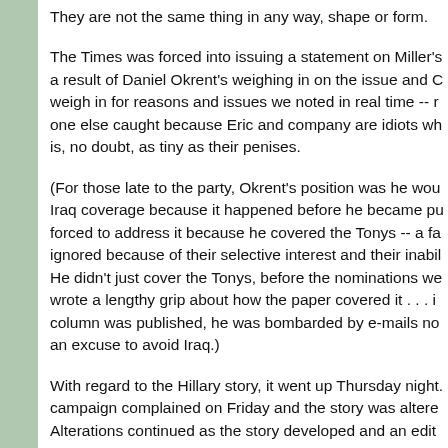They are not the same thing in any way, shape or form.
The Times was forced into issuing a statement on Miller's a result of Daniel Okrent's weighing in on the issue and C weigh in for reasons and issues we noted in real time -- r one else caught because Eric and company are idiots wh is, no doubt, as tiny as their penises.
(For those late to the party, Okrent's position was he wou Iraq coverage because it happened before he became pu forced to address it because he covered the Tonys -- a fa ignored because of their selective interest and their inabil He didn't just cover the Tonys, before the nominations we wrote a lengthy grip about how the paper covered it . . . i column was published, he was bombarded by e-mails no an excuse to avoid Iraq.)
With regard to the Hillary story, it went up Thursday night. campaign complained on Friday and the story was altere Alterations continued as the story developed and an edit